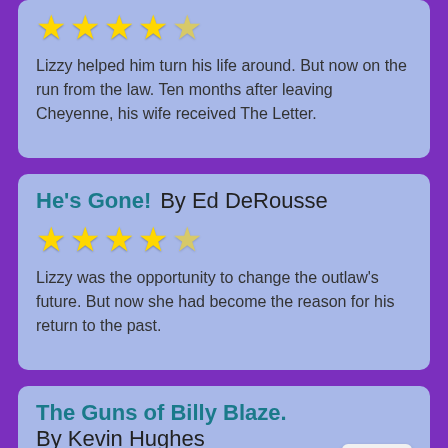Lizzy helped him turn his life around. But now on the run from the law. Ten months after leaving Cheyenne, his wife received The Letter.
He's Gone!  By Ed DeRousse
Lizzy was the opportunity to change the outlaw's future. But now she had become the reason for his return to the past.
The Guns of Billy Blaze.  By Kevin Hughes
Pearl handles and polished steel aren't always